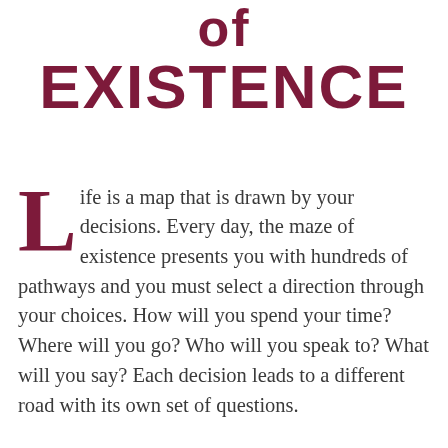of EXISTENCE
Life is a map that is drawn by your decisions. Every day, the maze of existence presents you with hundreds of pathways and you must select a direction through your choices. How will you spend your time? Where will you go? Who will you speak to? What will you say? Each decision leads to a different road with its own set of questions.